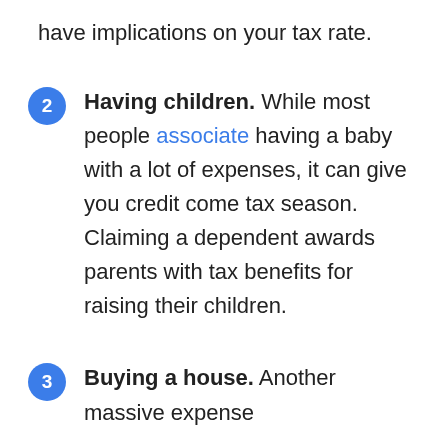have implications on your tax rate.
2. Having children. While most people associate having a baby with a lot of expenses, it can give you credit come tax season. Claiming a dependent awards parents with tax benefits for raising their children.
3. Buying a house. Another massive expense